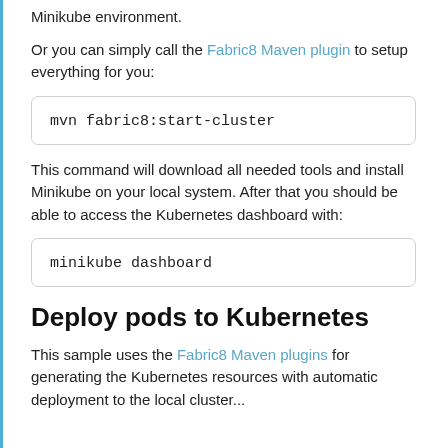Minikube environment.
Or you can simply call the Fabric8 Maven plugin to setup everything for you:
mvn fabric8:start-cluster
This command will download all needed tools and install Minikube on your local system. After that you should be able to access the Kubernetes dashboard with:
minikube dashboard
Deploy pods to Kubernetes
This sample uses the Fabric8 Maven plugins for generating the Kubernetes resources with automatic deployment to the local cluster...